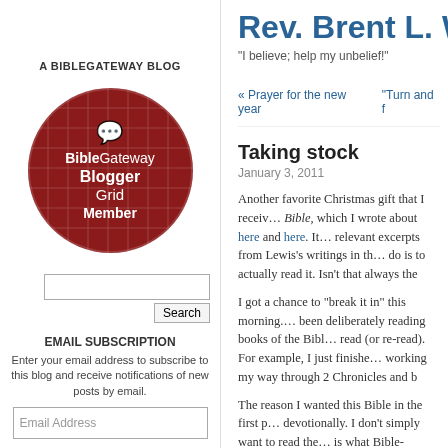Rev. Brent L. W...
"I believe; help my unbelief!"
A BIBLEGATEWAY BLOG
[Figure (logo): BibleGateway Blogger Grid Member badge — dark red circle with grid background, white text reading 'BibleGateway Blogger Grid Member']
EMAIL SUBSCRIPTION
Enter your email address to subscribe to this blog and receive notifications of new posts by email.
« Prayer for the new year    "Turn and f...
Taking stock
January 3, 2011
Another favorite Christmas gift that I receiv... Bible, which I wrote about here and here. It... relevant excerpts from Lewis's writings in th... do is to actually read it. Isn't that always the...
I got a chance to "break it in" this morning.... been deliberately reading books of the Bibl... read (or re-read). For example, I just finishe... working my way through 2 Chronicles and b...
The reason I wanted this Bible in the first p... devotionally. I don't simply want to read the... is what Bible-reading had mostly become fo...
I'm not much for making New Year's resolu... making one now: I'm resolving to read the b...